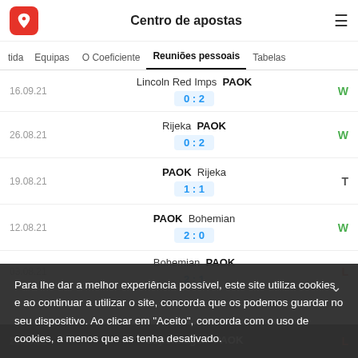Centro de apostas
tida | Equipas | O Coeficiente | Reuniões pessoais | Tabelas
| Date | Match | Score | Result |
| --- | --- | --- | --- |
| 16.09.21 | Lincoln Red Imps – PAOK | 0 : 2 | W |
| 26.08.21 | Rijeka – PAOK | 0 : 2 | W |
| 19.08.21 | PAOK – Rijeka | 1 : 1 | T |
| 12.08.21 | PAOK – Bohemian | 2 : 0 | W |
| 03.08.21 | Bohemian – PAOK | 2 : 1 | L |
Para lhe dar a melhor experiência possível, este site utiliza cookies e ao continuar a utilizar o site, concorda que os podemos guardar no seu dispositivo. Ao clicar em "Aceito", concorda com o uso de cookies, a menos que as tenha desativado.
| Date | Match | Score | Result |
| --- | --- | --- | --- |
| 21.10.21 | Copenhagen – PAOK |  | L |